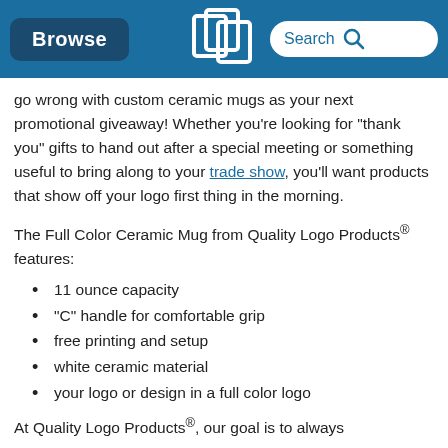Browse | [Quality Logo Products logo] | Search
go wrong with custom ceramic mugs as your next promotional giveaway! Whether you're looking for "thank you" gifts to hand out after a special meeting or something useful to bring along to your trade show, you'll want products that show off your logo first thing in the morning.
The Full Color Ceramic Mug from Quality Logo Products® features:
11 ounce capacity
"C" handle for comfortable grip
free printing and setup
white ceramic material
your logo or design in a full color logo
At Quality Logo Products®, our goal is to always